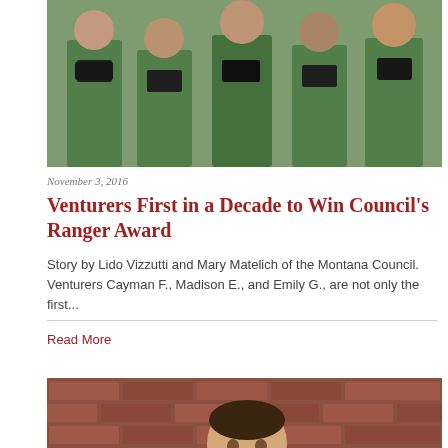[Figure (photo): Group of young Venturers in green scout uniforms holding open award boxes containing medals]
November 3, 2016
Venturers First in a Decade to Win Council’s Ranger Award
Story by Lido Vizzutti and Mary Matelich of the Montana Council. Venturers Cayman F., Madison E., and Emily G., are not only the first...
Read More
[Figure (photo): Young male Boy Scout in tan uniform with merit badge sash sitting in front of a brick wall]